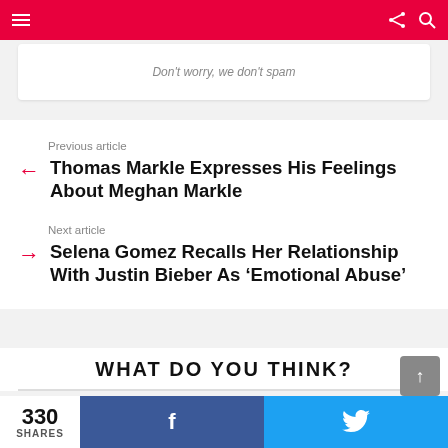Navigation bar with menu, share and search icons
Don't worry, we don't spam
Previous article
Thomas Markle Expresses His Feelings About Meghan Markle
Next article
Selena Gomez Recalls Her Relationship With Justin Bieber As 'Emotional Abuse'
WHAT DO YOU THINK?
330 SHARES  Facebook share  Twitter share